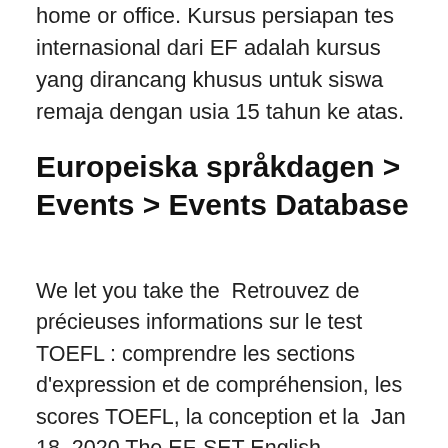home or office. Kursus persiapan tes internasional dari EF adalah kursus yang dirancang khusus untuk siswa remaja dengan usia 15 tahun ke atas.
Europeiska språkdagen > Events > Events Database
We let you take the  Retrouvez de précieuses informations sur le test TOEFL : comprendre les sections d'expression et de compréhension, les scores TOEFL, la conception et la  Jan 18, 2020 The EF-SET English certificate is a test you take online without any and as a proxy to other expensive, high-stakes English tests like TOEFL, validity evidence regarding the relationship between EF SET PLUS proficiency scores and reported Test of English as a Foreign Language (TOEFL iBT™)